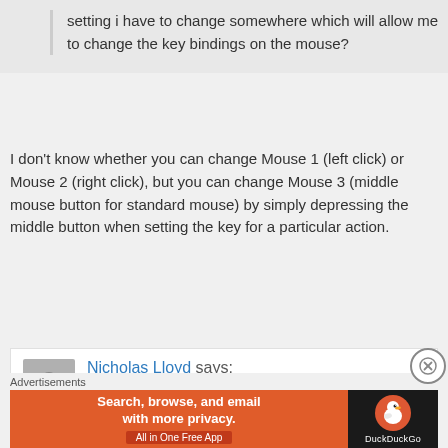setting i have to change somewhere which will allow me to change the key bindings on the mouse?
I don't know whether you can change Mouse 1 (left click) or Mouse 2 (right click), but you can change Mouse 3 (middle mouse button for standard mouse) by simply depressing the middle button when setting the key for a particular action.
Nicholas Lloyd says: 2013 January 25 at 8:36 am
Advertisements
[Figure (screenshot): DuckDuckGo advertisement banner: orange left section with text 'Search, browse, and email with more privacy. All in One Free App' and dark right section with DuckDuckGo duck logo and brand name.]